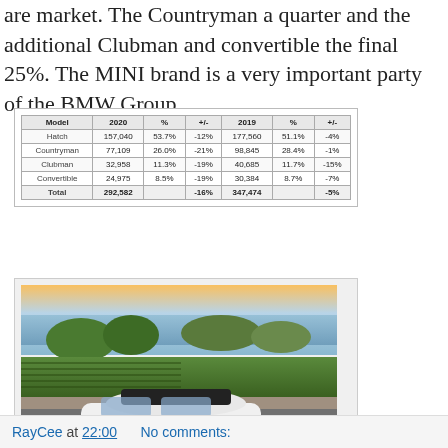are market. The Countryman a quarter and the additional Clubman and convertible the final 25%. The MINI brand is a very important party of the BMW Group.
| Model | 2020 | % | +/- | 2019 | % | +/- |
| --- | --- | --- | --- | --- | --- | --- |
| Hatch | 157,040 | 53.7% | -12% | 177,560 | 51.1% | -4% |
| Countryman | 77,109 | 26.0% | -21% | 98,845 | 28.4% | -1% |
| Clubman | 32,958 | 11.3% | -19% | 40,685 | 11.7% | -15% |
| Convertible | 24,975 | 8.5% | -19% | 30,384 | 8.7% | -7% |
| Total | 292,582 |  | -16% | 347,474 |  | -5% |
[Figure (photo): White MINI Cooper car with rooftop cargo box parked on a road, with vineyards, trees, lake and sunset sky in background.]
RayCee at 22:00    No comments: